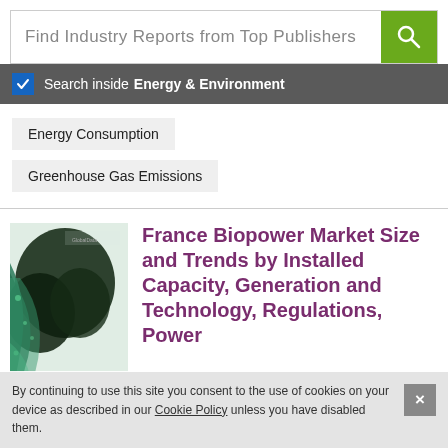Find Industry Reports from Top Publishers
Search inside Energy & Environment
Energy Consumption
Greenhouse Gas Emissions
[Figure (photo): Book cover for France Biopower report with teal and dark green organic/nature imagery and GlobalData logo]
France Biopower Market Size and Trends by Installed Capacity, Generation and Technology, Regulations, Power
By continuing to use this site you consent to the use of cookies on your device as described in our Cookie Policy unless you have disabled them.